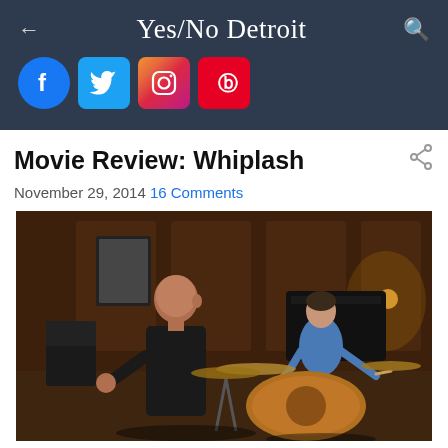Yes/No Detroit
[Figure (illustration): Social media icons: Facebook, Twitter, Instagram, Pinterest]
Movie Review: Whiplash
November 29, 2014 16 Comments
[Figure (photo): Scene from the movie Whiplash: a bald man in a black t-shirt stands near a drum kit in a rehearsal room; a young man in a blue shirt sits behind the drums in the background]